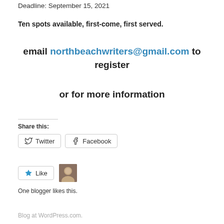Deadline: September 15, 2021
Ten spots available, first-come, first served.
email northbeachwriters@gmail.com to register
or for more information
Share this:
Twitter
Facebook
Like
One blogger likes this.
Blog at WordPress.com.